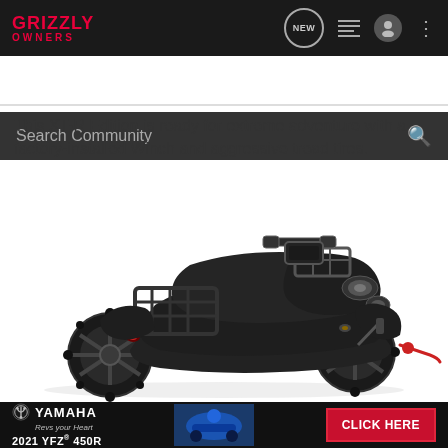Grizzly Owners
This XT-R Edition is ready for extreme adventure with a factory-installed Winch and aggressive tread tires.
[Figure (photo): Black Yamaha Grizzly ATV (XT-R Edition) with aggressive tread tires and front-mounted winch on a white background, shown in a three-quarter front view.]
Yamaha — 2021 YFZ® 450R — CLICK HERE